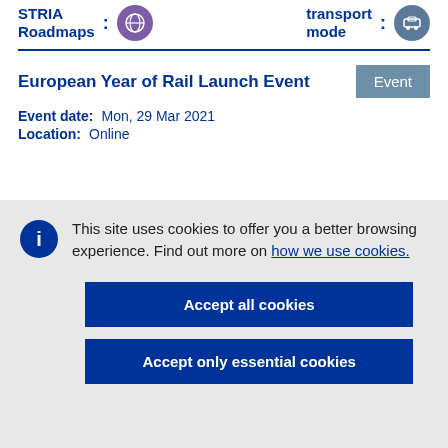STRIA Roadmaps : [icon] transport mode : [icon]
European Year of Rail Launch Event
Event date: Mon, 29 Mar 2021
Location: Online
This site uses cookies to offer you a better browsing experience. Find out more on how we use cookies.
Accept all cookies
Accept only essential cookies